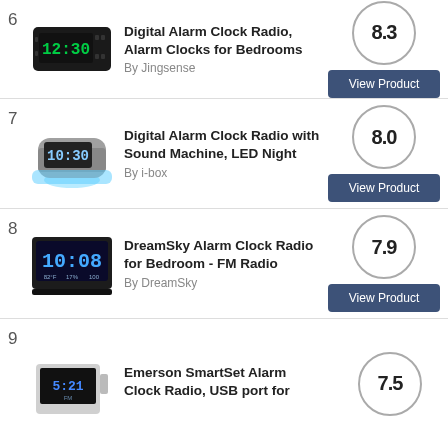6 Digital Alarm Clock Radio, Alarm Clocks for Bedrooms By Jingsense Score: 8.3
7 Digital Alarm Clock Radio with Sound Machine, LED Night By i-box Score: 8.0
8 DreamSky Alarm Clock Radio for Bedroom - FM Radio By DreamSky Score: 7.9
9 Emerson SmartSet Alarm Clock Radio, USB port for Score: 7.5